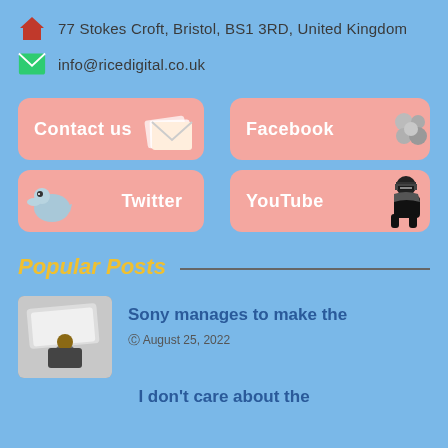77 Stokes Croft, Bristol, BS1 3RD, United Kingdom
info@ricedigital.co.uk
[Figure (other): Contact us button with envelope icon, pink rounded rectangle]
[Figure (other): Facebook button with decorative icon, pink rounded rectangle]
[Figure (other): Twitter button with bird icon, pink rounded rectangle]
[Figure (other): YouTube button with ninja icon, pink rounded rectangle]
Popular Posts
[Figure (photo): Photo of man holding PS5 box]
Sony manages to make the
August 25, 2022
I don't care about the